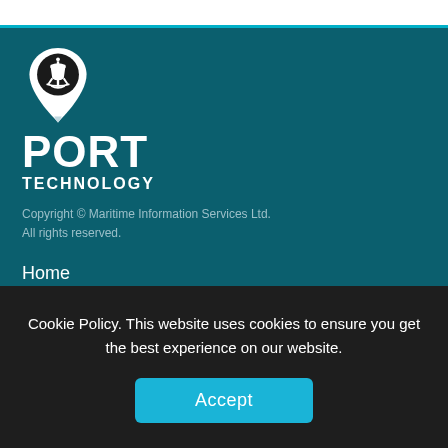[Figure (logo): Port Technology logo: map pin icon with ship/anchor inside, above bold white text PORT TECHNOLOGY on dark teal background]
Copyright © Maritime Information Services Ltd.
All rights reserved.
Home
About
News
Journal
Cookie Policy. This website uses cookies to ensure you get the best experience on our website.